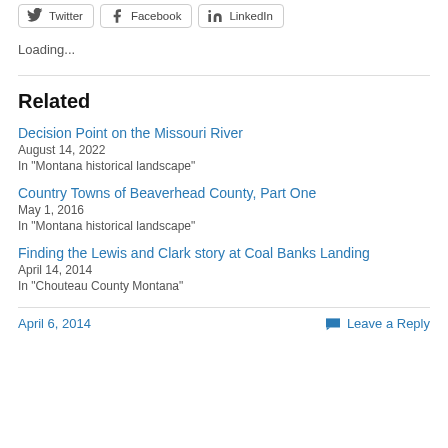[Figure (other): Social media share buttons for Twitter, Facebook, and LinkedIn]
Loading...
Related
Decision Point on the Missouri River
August 14, 2022
In "Montana historical landscape"
Country Towns of Beaverhead County, Part One
May 1, 2016
In "Montana historical landscape"
Finding the Lewis and Clark story at Coal Banks Landing
April 14, 2014
In "Chouteau County Montana"
April 6, 2014   Leave a Reply